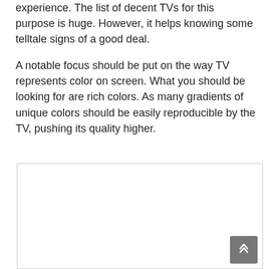experience. The list of decent TVs for this purpose is huge. However, it helps knowing some telltale signs of a good deal.
A notable focus should be put on the way TV represents color on screen. What you should be looking for are rich colors. As many gradients of unique colors should be easily reproducible by the TV, pushing its quality higher.
[Figure (other): A bordered rectangular image placeholder area, mostly white/empty, with a scroll-to-top button (dark grey, chevron-up icon) in the bottom-right corner.]